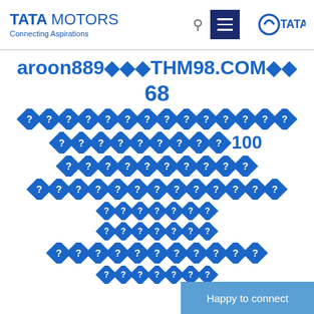TATA MOTORS - Connecting Aspirations | TATA logo
aroon889◆◆◆THM98.COM◆◆
68
[rows of diamond question mark symbols] 100
[additional rows of diamond question mark symbols]
Happy to connect